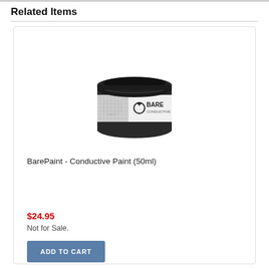Related Items
[Figure (photo): A small black cylindrical jar of BarePaint Conductive Paint with a white label showing the Bare Conductive logo.]
BarePaint - Conductive Paint (50ml)
$24.95
Not for Sale.
ADD TO CART